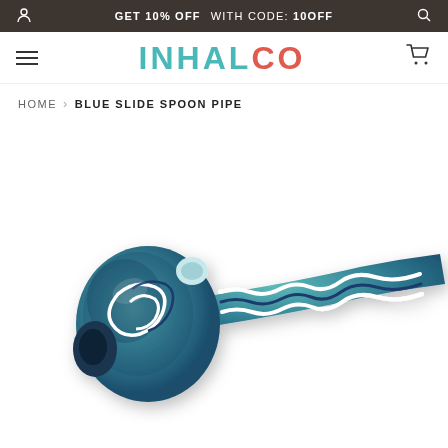GET 10% OFF WITH CODE: 10OFF
INHALCO
HOME › BLUE SLIDE SPOON PIPE
[Figure (photo): A blue and white swirled glass spoon pipe with wavy decorative lines running along the handle and bowl. The pipe has teal/blue base glass with dark blue and white zig-zag swirl patterns.]